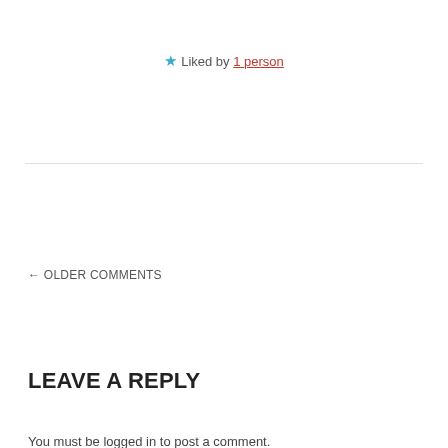★ Liked by 1 person
← OLDER COMMENTS
LEAVE A REPLY
You must be logged in to post a comment.
This site uses Akismet to reduce spam. Learn how your comment data is processed.